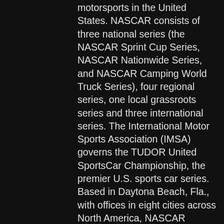motorsports in the United States. NASCAR consists of three national series (the NASCAR Sprint Cup Series, NASCAR Nationwide Series, and NASCAR Camping World Truck Series), four regional series, one local grassroots series and three international series. The International Motor Sports Association (IMSA) governs the TUDOR United SportsCar Championship, the premier U.S. sports car series. Based in Daytona Beach, Fla., with offices in eight cities across North America, NASCAR sanctions more than 1,200 races in more than 30 U.S. states, Canada, Mexico and Europe. For more information, visit www.nascar.com and follow NASCAR at www.facebook.com/NASCAR and